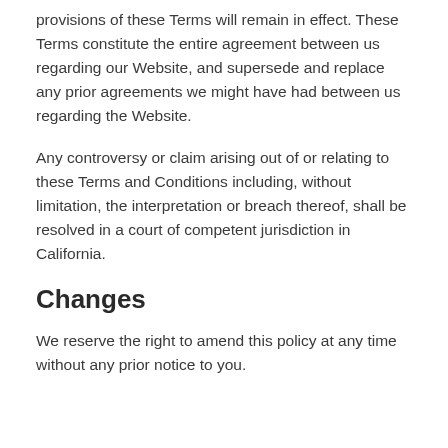provisions of these Terms will remain in effect. These Terms constitute the entire agreement between us regarding our Website, and supersede and replace any prior agreements we might have had between us regarding the Website.
Any controversy or claim arising out of or relating to these Terms and Conditions including, without limitation, the interpretation or breach thereof, shall be resolved in a court of competent jurisdiction in California.
Changes
We reserve the right to amend this policy at any time without any prior notice to you.